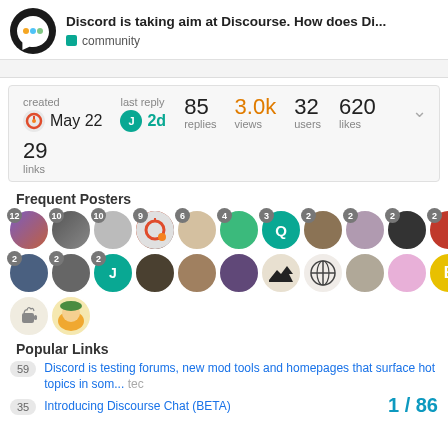Discord is taking aim at Discourse. How does Di... | community
| created | last reply | replies | views | users | likes |
| --- | --- | --- | --- | --- | --- |
| May 22 | 2d | 85 | 3.0k | 32 | 620 |
29 links
Frequent Posters
[Figure (illustration): Grid of user avatar icons with post count badges showing frequent posters]
Popular Links
59 — Discord is testing forums, new mod tools and homepages that surface hot topics in som... tec
35 — Introducing Discourse Chat (BETA)
1 / 86